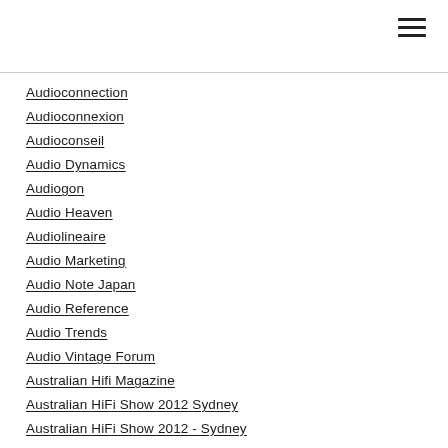Audioconnection
Audioconnexion
Audioconseil
Audio Dynamics
Audiogon
Audio Heaven
Audiolineaire
Audio Marketing
Audio Note Japan
Audio Reference
Audio Trends
Audio Vintage Forum
Australian Hifi Magazine
Australian HiFi Show 2012 Sydney
Australian HiFi Show 2012 - Sydney
Avantgarde